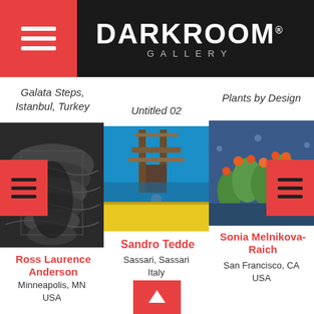DARKROOM GALLERY
Galata Steps, Istanbul, Turkey
[Figure (photo): Black and white photograph of curved stone steps, Galata Steps, Istanbul, Turkey]
Ross Laurence Anderson
Minneapolis, MN USA
Untitled 02
[Figure (photo): Color photograph looking up at industrial structure against bright blue sky, yellow wall below]
Sandro Tedde
Sassari, Sassari Italy
Plants by Design
[Figure (photo): Color photograph of stylized plants with orange and green tones against blue background]
Sonia Melnikova-Raich
San Francisco, CA USA